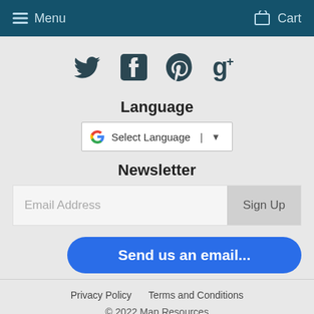Menu  Cart
[Figure (illustration): Social media icons: Twitter bird, Facebook f, Pinterest p, Google+ g+ in dark teal/navy color]
Language
[Figure (screenshot): Google Translate widget with 'Select Language' dropdown]
Newsletter
Email Address  Sign Up
Send us an email...
Privacy Policy   Terms and Conditions   © 2022 Map Resources